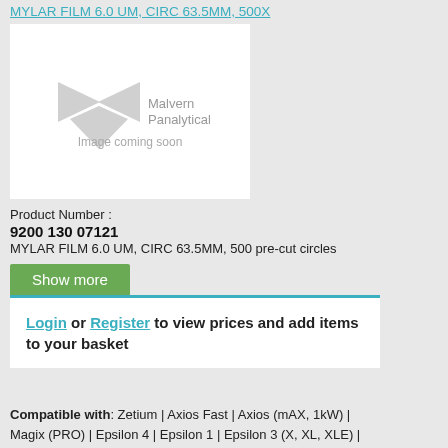MYLAR FILM 6.0 UM, CIRC 63.5MM, 500X
[Figure (logo): Malvern Panalytical logo with 'Image coming soon' placeholder text on white background]
Product Number :
9200 130 07121
MYLAR FILM 6.0 UM, CIRC 63.5MM, 500 pre-cut circles
Login or Register to view prices and add items to your basket
Compatible with: Zetium | Axios Fast | Axios (mAX, 1kW) | Magix (PRO) | Epsilon 4 | Epsilon 1 | Epsilon 3 (X, XL, XLE) |